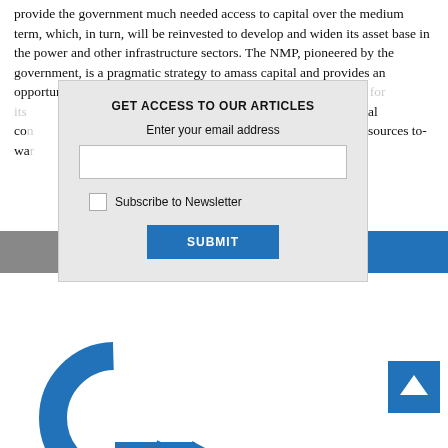provide the government much needed access to capital over the medium term, which, in turn, will be reinvested to develop and widen its asset base in the power and other infrastructure sectors. The NMP, pioneered by the government, is a pragmatic strategy to amass capital and provides an opportunity to PSUs to avail of the benefits of private investment for its ... capital from private ... Us in easing fiscal con... re greenfield inf... al resources to-wa... ic priorities.
[Figure (screenshot): Modal dialog box with title 'GET ACCESS TO OUR ARTICLES', an email input field, a 'Subscribe to Newsletter' checkbox, and a blue 'SUBMIT' button. Background shows partially visible article text and a gray/blue navigation bar.]
[Figure (illustration): Blue circular arrow/refresh icon (partial view) in bottom-left area, and a blue scroll-to-top arrow button in the bottom-right corner.]